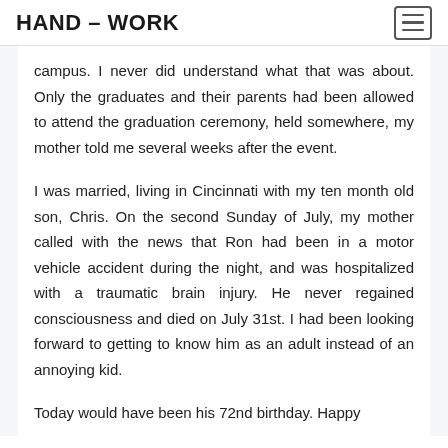HAND – WORK
campus. I never did understand what that was about. Only the graduates and their parents had been allowed to attend the graduation ceremony, held somewhere, my mother told me several weeks after the event.
I was married, living in Cincinnati with my ten month old son, Chris. On the second Sunday of July, my mother called with the news that Ron had been in a motor vehicle accident during the night, and was hospitalized with a traumatic brain injury. He never regained consciousness and died on July 31st. I had been looking forward to getting to know him as an adult instead of an annoying kid.
Today would have been his 72nd birthday.  Happy